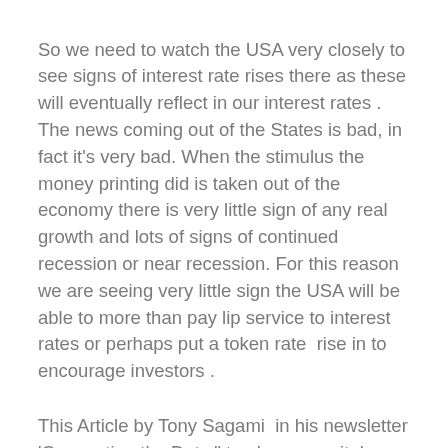So we need to watch the USA very closely to see signs of interest rate rises there as these will eventually reflect in our interest rates . The news coming out of the States is bad, in fact it's very bad. When the stimulus the money printing did is taken out of the economy there is very little sign of any real  growth and lots of signs of continued recession or near recession. For this reason we are seeing very little sign the USA will be able to more than pay lip service to interest rates or perhaps put a token rate  rise in to encourage investors .
This Article by Tony Sagami  in his newsletter 'Connecting the Dots " tracks some vital indicators of how the USA economy is really doing as...